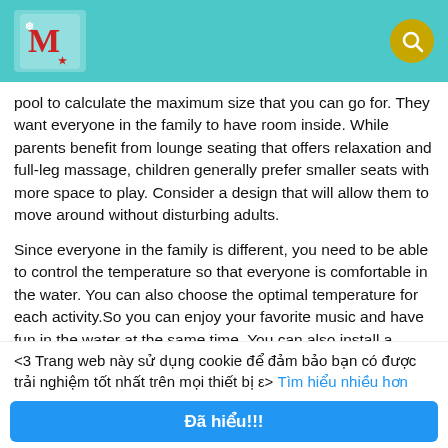[Figure (screenshot): App header bar with teal/cyan background, logo on left, yellow search icon on right]
pool to calculate the maximum size that you can go for. They want everyone in the family to have room inside. While parents benefit from lounge seating that offers relaxation and full-leg massage, children generally prefer smaller seats with more space to play. Consider a design that will allow them to move around without disturbing adults.
Since everyone in the family is different, you need to be able to control the temperature so that everyone is comfortable in the water. You can also choose the optimal temperature for each activity.So you can enjoy your favorite music and have fun in the water at the same time. You can also install a television to watch movies, shows, and sporting events. Multi-colored lighting systems are fun for everyone. They are great for creating a mood. You can
<3 Trang web này sử dụng cookie để đảm bảo bạn có được trải nghiệm tốt nhất trên mọi thiết bị ε> Tìm hiểu nhiều hơn
Đã hiểu!!!